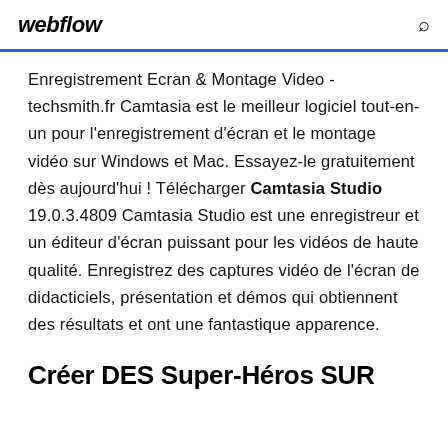webflow
Enregistrement Ecran & Montage Video - techsmith.fr Camtasia est le meilleur logiciel tout-en-un pour l'enregistrement d'écran et le montage vidéo sur Windows et Mac. Essayez-le gratuitement dès aujourd'hui ! Télécharger Camtasia Studio 19.0.3.4809 Camtasia Studio est une enregistreur et un éditeur d'écran puissant pour les vidéos de haute qualité. Enregistrez des captures vidéo de l'écran de didacticiels, présentation et démos qui obtiennent des résultats et ont une fantastique apparence.
Créer DES Super-Héros SUR